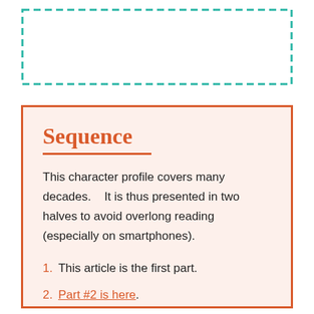[Figure (other): Teal dashed-border rectangle placeholder box at top of page]
Sequence
This character profile covers many decades.    It is thus presented in two halves to avoid overlong reading (especially on smartphones).
1. This article is the first part.
2. Part #2 is here.